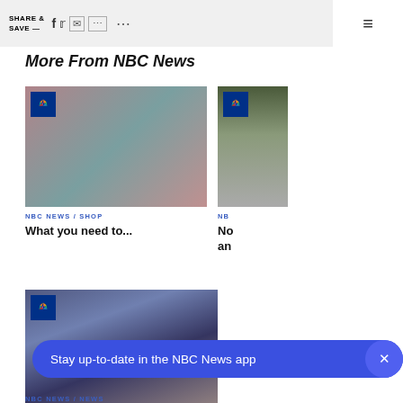SHARE & SAVE — [social icons] ... ☰
More From NBC News
[Figure (photo): Woman in teal turtleneck sweater with eyes closed, holding hand near face]
NBC NEWS / SHOP
What you need to...
[Figure (photo): Partial image of snowy outdoor scene]
NB
No
an
[Figure (photo): Person in purple and blue shirt near a vehicle]
NBC NEWS / NEWS
Stay up-to-date in the NBC News app